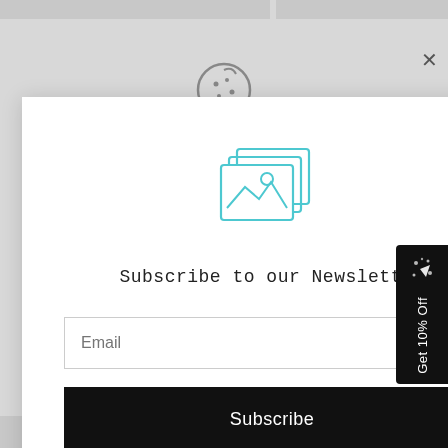[Figure (screenshot): Screenshot of a website with a newsletter subscription modal overlay. Behind the modal is a greyed-out webpage with a cookie consent icon and partial content. The modal shows a stacked-photos icon, the text 'Subscribe to our Newsletter', an Email input field, and a black Subscribe button. A 'Get 10% Off' sidebar promo is on the right. A 'Chat with us' button is visible at the bottom right.]
Subscribe to our Newsletter
Email
Subscribe
describe a new promotion.
Chat with us
Get 10% Off